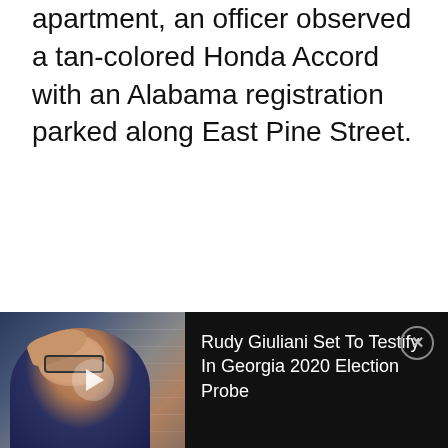apartment, an officer observed a tan-colored Honda Accord with an Alabama registration parked along East Pine Street.
[Figure (screenshot): Video widget showing a man with glasses holding his hand to his forehead, with American flags in background. Title reads: Rudy Giuliani Set To Testify In Georgia 2020 Election Probe]
Rudy Giuliani Set To Testify In Georgia 2020 Election Probe